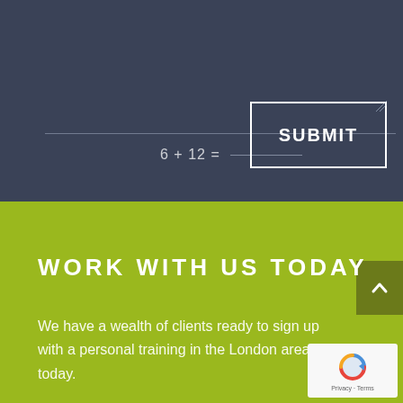[Figure (screenshot): Dark blue-grey form section with a horizontal divider line, a CAPTCHA math question '6 + 12 =' with an answer field underline, and a SUBMIT button with white border on the right]
6 + 12 =
SUBMIT
WORK WITH US TODAY
We have a wealth of clients ready to sign up with a personal training in the London area today.